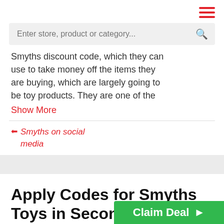hamburger menu icon
Enter store, product or category...
Smyths discount code, which they can use to take money off the items they are buying, which are largely going to be toy products. They are one of the
Show More
Smyths on social media
Apply Codes for Smyths Toys in Seconds with DealFinder
Claim Deal